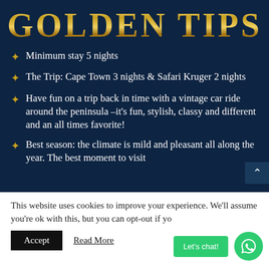GOLDEN TIPS
Minimum stay 5 nights
The Trip: Cape Town 3 nights & Safari Kruger 2 nights
Have fun on a trip back in time with a vintage car ride around the peninsula –it's fun, stylish, classy and different and an all times favorite!
Best season: the climate is mild and pleasant all along the year. The best moment to visit
This website uses cookies to improve your experience. We'll assume you're ok with this, but you can opt-out if you